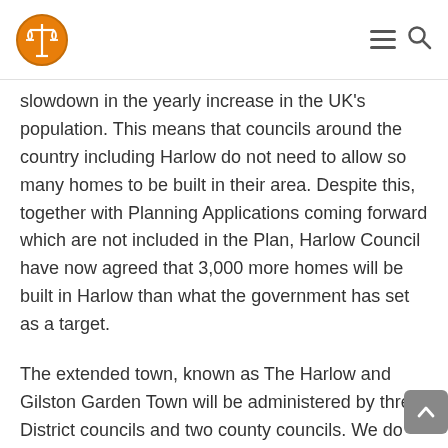slowdown in the yearly increase in the UK's population. This means that councils around the country including Harlow do not need to allow so many homes to be built in their area. Despite this, together with Planning Applications coming forward which are not included in the Plan, Harlow Council have now agreed that 3,000 more homes will be built in Harlow than what the government has set as a target.
The extended town, known as The Harlow and Gilston Garden Town will be administered by three District councils and two county councils. We do not believe this is sustainable, either politically or when trying to